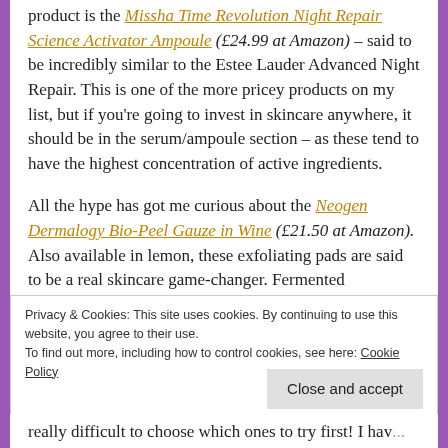product is the Missha Time Revolution Night Repair Science Activator Ampoule (£24.99 at Amazon) – said to be incredibly similar to the Estee Lauder Advanced Night Repair. This is one of the more pricey products on my list, but if you're going to invest in skincare anywhere, it should be in the serum/ampoule section – as these tend to have the highest concentration of active ingredients.
All the hype has got me curious about the Neogen Dermalogy Bio-Peel Gauze in Wine (£21.50 at Amazon). Also available in lemon, these exfoliating pads are said to be a real skincare game-changer. Fermented ingredients are having a bit of a heyday right now, as they are meant
Privacy & Cookies: This site uses cookies. By continuing to use this website, you agree to their use.
To find out more, including how to control cookies, see here: Cookie Policy
Close and accept
really difficult to choose which ones to try first! I hav...